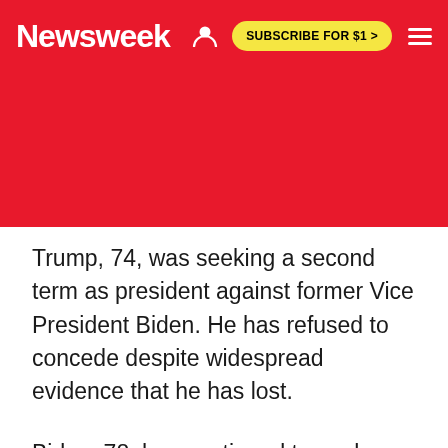Newsweek  SUBSCRIBE FOR $1 >
Trump, 74, was seeking a second term as president against former Vice President Biden. He has refused to concede despite widespread evidence that he has lost.
Biden, 78, has continued to work on a "transition" effort, even though the Trump